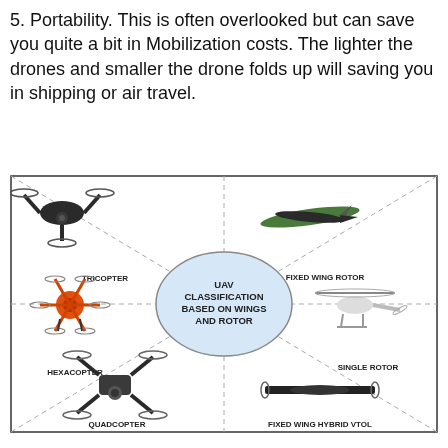5. Portability. This is often overlooked but can save you quite a bit in Mobilization costs. The lighter the drones and smaller the drone folds up will saving you in shipping or air travel.
[Figure (illustration): UAV Classification Based on Wings and Rotor diagram showing 5 drone types: Tricopter (top left), Fixed Wing Rotor (top right), Hexacopter (middle left), Single Rotor (middle right), Quadcopter (bottom left), Fixed Wing Hybrid VTOL (bottom right), with a central circle labeled 'UAV CLASSIFICATION BASED ON WINGS AND ROTOR' and dashed lines connecting all types to center.]